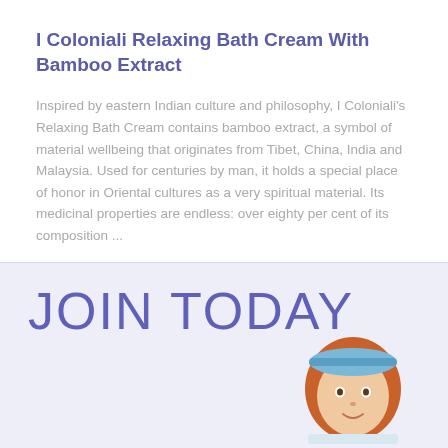I Coloniali Relaxing Bath Cream With Bamboo Extract
Inspired by eastern Indian culture and philosophy, I Coloniali's Relaxing Bath Cream contains bamboo extract, a symbol of material wellbeing that originates from Tibet, China, India and Malaysia. Used for centuries by man, it holds a special place of honor in Oriental cultures as a very spiritual material. Its medicinal properties are endless: over eighty per cent of its composition ...
Read Review
[Figure (other): Promotional banner with large purple text 'JOIN TODAY' on a light lavender background, with a partial illustration of a person with a blue headband at bottom right.]